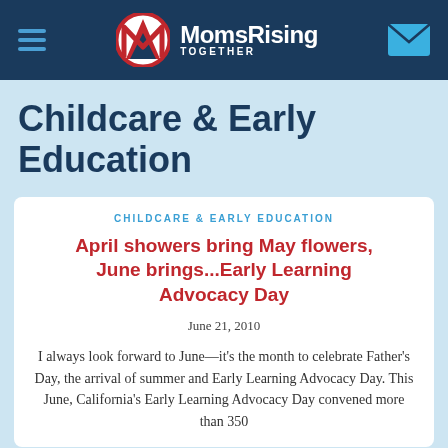MomsRising TOGETHER
Childcare & Early Education
CHILDCARE & EARLY EDUCATION
April showers bring May flowers, June brings...Early Learning Advocacy Day
June 21, 2010
I always look forward to June—it's the month to celebrate Father's Day, the arrival of summer and Early Learning Advocacy Day. This June, California's Early Learning Advocacy Day convened more than 350